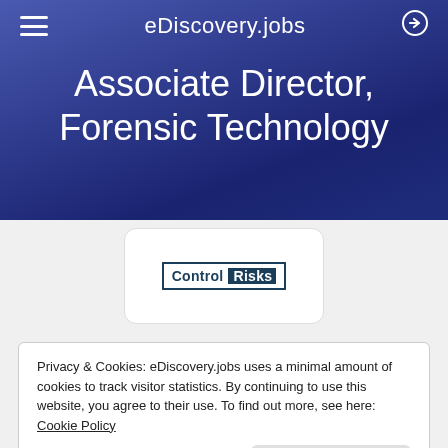eDiscovery.jobs
Associate Director, Forensic Technology
[Figure (logo): Control Risks company logo — white card with 'Control' in dark navy border text and 'Risks' on dark navy background]
Privacy & Cookies: eDiscovery.jobs uses a minimal amount of cookies to track visitor statistics. By continuing to use this website, you agree to their use. To find out more, see here: Cookie Policy
Close and accept